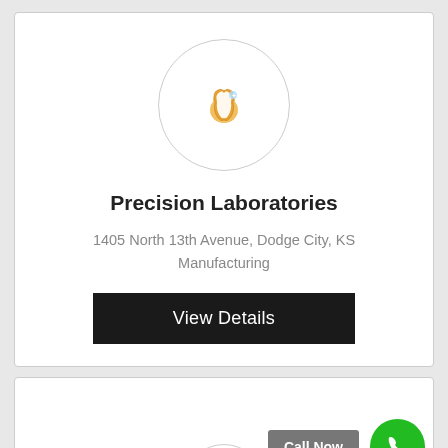[Figure (logo): Circular logo placeholder with a tooth icon (gold/orange colored tooth with sparkle) centered inside a light gray circle outline]
Precision Laboratories
1405 North 13th Avenue, Dodge City, KS
Manufacturing
View Details
Call Now